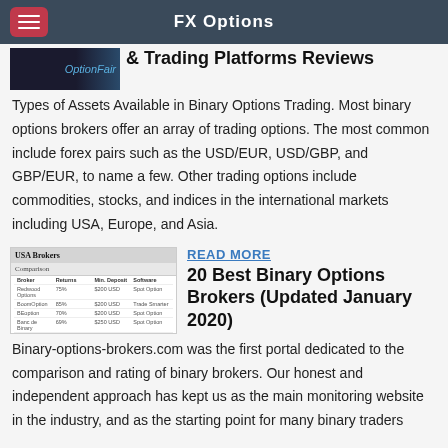FX Options
& Trading Platforms Reviews
Types of Assets Available in Binary Options Trading. Most binary options brokers offer an array of trading options. The most common include forex pairs such as the USD/EUR, USD/GBP, and GBP/EUR, to name a few. Other trading options include commodities, stocks, and indices in the international markets including USA, Europe, and Asia.
[Figure (screenshot): Screenshot of USA Brokers comparison table showing broker names, returns, min deposit, and software columns]
READ MORE
20 Best Binary Options Brokers (Updated January 2020)
Binary-options-brokers.com was the first portal dedicated to the comparison and rating of binary brokers. Our honest and independent approach has kept us as the main monitoring website in the industry, and as the starting point for many binary traders